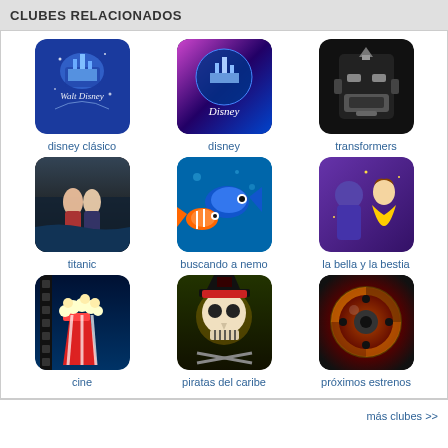CLUBES RELACIONADOS
[Figure (illustration): Grid of 9 club thumbnail images with labels: disney clásico, disney, transformers, titanic, buscando a nemo, la bella y la bestia, cine, piratas del caribe, próximos estrenos]
más clubes >>